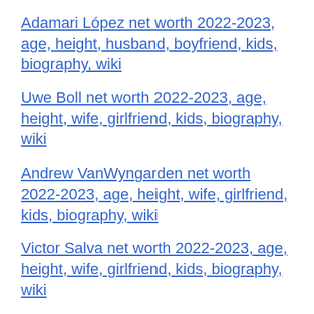Adamari López net worth 2022-2023, age, height, husband, boyfriend, kids, biography, wiki
Uwe Boll net worth 2022-2023, age, height, wife, girlfriend, kids, biography, wiki
Andrew VanWyngarden net worth 2022-2023, age, height, wife, girlfriend, kids, biography, wiki
Victor Salva net worth 2022-2023, age, height, wife, girlfriend, kids, biography, wiki
Angie Craig net worth 2022-2023, age, height, husband, boyfriend, girlfriend, kids,…